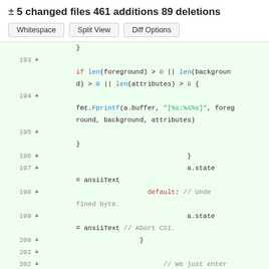± 5 changed files 461 additions 89 deletions
[Figure (screenshot): Three buttons: Whitespace, Split View, Diff Options]
Code diff view showing lines 193-201 with added lines in green background
193 +   if len(foreground) > 0 || len(background) > 0 || len(attributes) > 0 {
194 +   fmt.Fprintf(a.buffer, "[%s:%s%s]", foreground, background, attributes)
195 +   }
196 +   }
197 +   a.state = ansiiText
198 +   default: // Undefined byte.
199 +   a.state = ansiiText // Abort CSI.
200 +   }
201 +